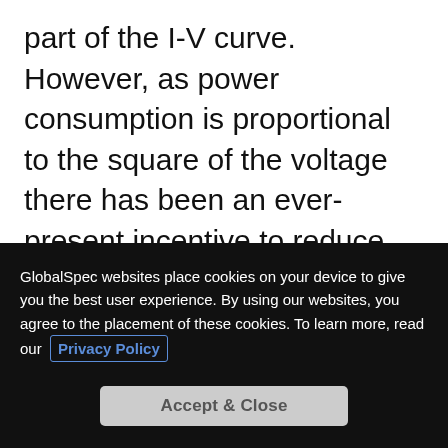part of the I-V curve. However, as power consumption is proportional to the square of the voltage there has been an ever-present incentive to reduce voltage and get closer to the non-linear operational region. Although transistors can be characterized at these near- and sub-threshold voltages and consume much less energy there, switching times are longer making performance slower.
GlobalSpec websites place cookies on your device to give you the best user experience. By using our websites, you agree to the placement of these cookies. To learn more, read our Privacy Policy
Accept & Close